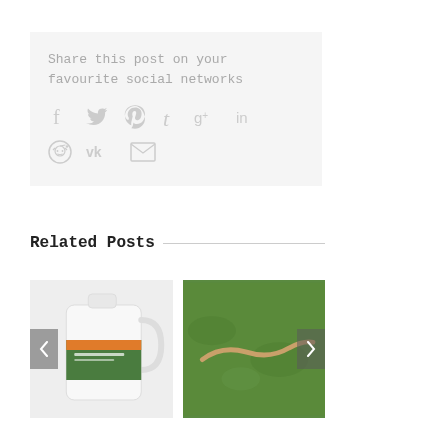Share this post on your favourite social networks
[Figure (infographic): Social media share icons: Facebook, Twitter, Pinterest, Tumblr, Google+, LinkedIn, Reddit, VK, Email — all in light gray]
Related Posts
[Figure (photo): Photo of a white plastic jug/bottle of lawn or garden product with green and orange label]
[Figure (photo): Photo of a worm or slow-worm on green grass]